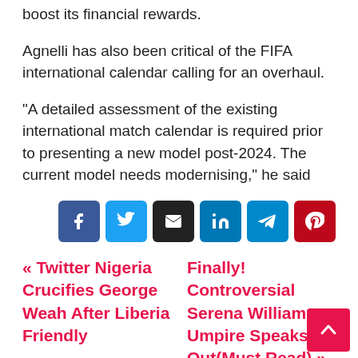boost its financial rewards.
Agnelli has also been critical of the FIFA international calendar calling for an overhaul.
“A detailed assessment of the existing international match calendar is required prior to presenting a new model post-2024. The current model needs modernising,” he said
[Figure (other): Row of 6 social share buttons: Facebook (dark blue), Twitter (light blue), Email (black), LinkedIn (blue), Telegram (teal), Pinterest (red)]
« Twitter Nigeria Crucifies George Weah After Liberia Friendly   Finally! Controversial Serena Williams Umpire Speaks Out(Must Read) »